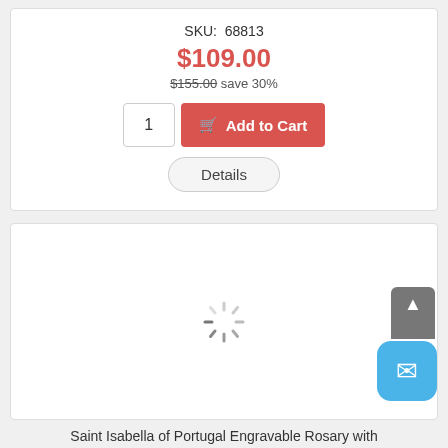SKU: 68813
$109.00
$155.00 save 30%
[Figure (screenshot): E-commerce product card showing quantity input (1) and red Add to Cart button with shopping cart icon, plus a Details button below]
[Figure (screenshot): Loading spinner (activity indicator) in center of a product image placeholder area]
Saint Isabella of Portugal Engravable Rosary with